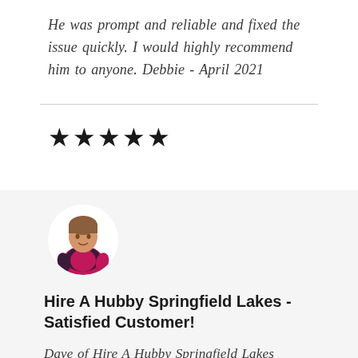He was prompt and reliable and fixed the issue quickly. I would highly recommend him to anyone.  Debbie - April 2021
[Figure (illustration): Five black star icons representing a 5-star rating]
[Figure (illustration): Circular avatar of a tradesperson wearing a pink Hire A Hubby uniform shirt]
Hire A Hubby Springfield Lakes - Satisfied Customer!
Dave of Hire A Hubby Springfield Lakes attended to my water tank, step treads and patio timber with great